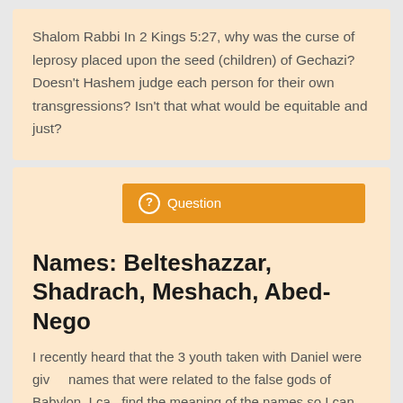Shalom Rabbi In 2 Kings 5:27, why was the curse of leprosy placed upon the seed (children) of Gechazi? Doesn't Hashem judge each person for their own transgressions? Isn't that what would be equitable and just?
Question
Names: Belteshazzar, Shadrach, Meshach, Abed-Nego
I recently heard that the 3 youth taken with Daniel were given names that were related to the false gods of Babylon. I can find the meaning of the names so I can share the info in Bible